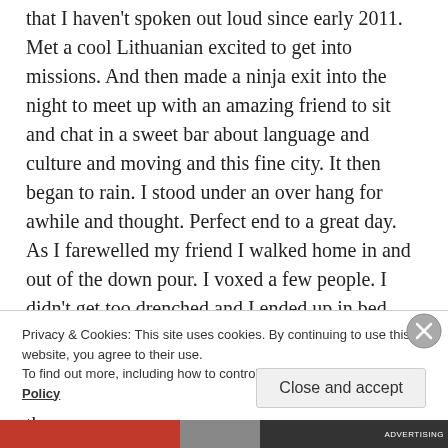that I haven't spoken out loud since early 2011. Met a cool Lithuanian excited to get into missions. And then made a ninja exit into the night to meet up with an amazing friend to sit and chat in a sweet bar about language and culture and moving and this fine city. It then began to rain. I stood under an over hang for awhile and thought. Perfect end to a great day. As I farewelled my friend I walked home in and out of the down pour. I voxed a few people. I didn't get too drenched and I ended up in bed before 12. I love Vilnius. I love the seasons I've seen. I love the people I've met. I love the old buildings and the new
Privacy & Cookies: This site uses cookies. By continuing to use this website, you agree to their use. To find out more, including how to control cookies, see here: Cookie Policy
Close and accept